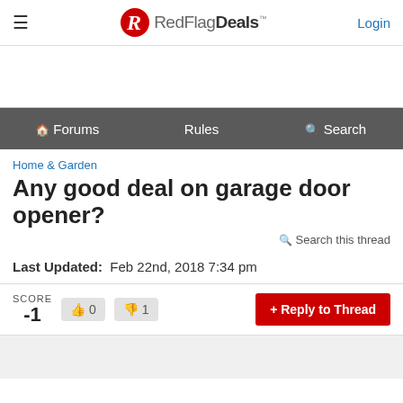RedFlagDeals™  Login
Forums  Rules  Search
Home & Garden
Any good deal on garage door opener?
Search this thread
Last Updated:  Feb 22nd, 2018 7:34 pm
SCORE -1  👍 0  👎 1  + Reply to Thread